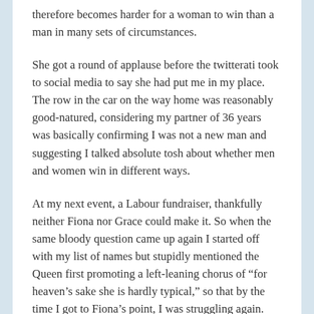therefore becomes harder for a woman to win than a man in many sets of circumstances.
She got a round of applause before the twitterati took to social media to say she had put me in my place. The row in the car on the way home was reasonably good-natured, considering my partner of 36 years was basically confirming I was not a new man and suggesting I talked absolute tosh about whether men and women win in different ways.
At my next event, a Labour fundraiser, thankfully neither Fiona nor Grace could make it. So when the same bloody question came up again I started off with my list of names but stupidly mentioned the Queen first promoting a left-leaning chorus of “for heaven’s sake she is hardly typical,” so that by the time I got to Fiona’s point, I was struggling again. God knows what would have happened if I